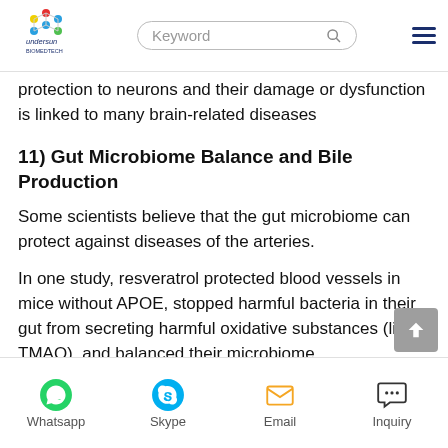Undersun Biomedtech [logo] | Keyword [search] | [menu]
protection to neurons and their damage or dysfunction is linked to many brain-related diseases
11) Gut Microbiome Balance and Bile Production
Some scientists believe that the gut microbiome can protect against diseases of the arteries.
In one study, resveratrol protected blood vessels in mice without APOE, stopped harmful bacteria in their gut from secreting harmful oxidative substances (like TMAO), and balanced their microbiome.
12) Obesity
Whatsapp | Skype | Email | Inquiry